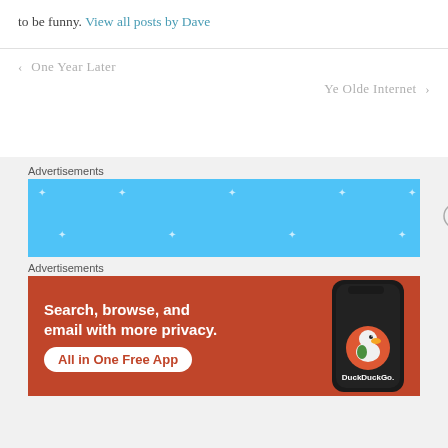to be funny. View all posts by Dave
< One Year Later
Ye Olde Internet >
Advertisements
[Figure (other): Blue advertisement placeholder box with sparkle/plus decorations]
Advertisements
[Figure (other): DuckDuckGo advertisement: orange/red background with text 'Search, browse, and email with more privacy. All in One Free App' and DuckDuckGo logo on a phone mockup]